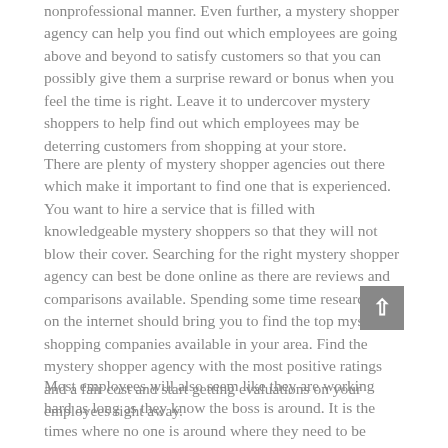nonprofessional manner. Even further, a mystery shopper agency can help you find out which employees are going above and beyond to satisfy customers so that you can possibly give them a surprise reward or bonus when you feel the time is right. Leave it to undercover mystery shoppers to help find out which employees may be deterring customers from shopping at your store.
There are plenty of mystery shopper agencies out there which make it important to find one that is experienced. You want to hire a service that is filled with knowledgeable mystery shoppers so that they will not blow their cover. Searching for the right mystery shopper agency can best be done online as there are reviews and comparisons available. Spending some time researching on the internet should bring you to find the top mystery shopping companies available in your area. Find the mystery shopper agency with the most positive ratings and a fair cost and start getting evaluations on your employees right away.
Most employees will also seem like they are working hard as long as they know the boss is around. It is the times where no one is around where they need to be watched to ensure they